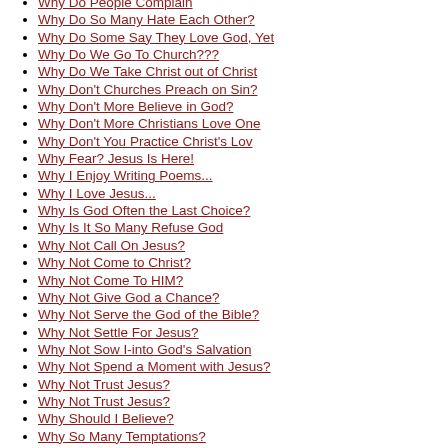Why Do People Complain
Why Do So Many Hate Each Other?
Why Do Some Say They Love God, Yet
Why Do We Go To Church???
Why Do We Take Christ out of Christ
Why Don't Churches Preach on Sin?
Why Don't More Believe in God?
Why Don't More Christians Love One
Why Don't You Practice Christ's Lov
Why Fear? Jesus Is Here!
Why I Enjoy Writing Poems...
Why I Love Jesus...
Why Is God Often the Last Choice?
Why Is It So Many Refuse God
Why Not Call On Jesus?
Why Not Come to Christ?
Why Not Come To HIM?
Why Not Give God a Chance?
Why Not Serve the God of the Bible?
Why Not Settle For Jesus?
Why Not Sow I-into God's Salvation
Why Not Spend a Moment with Jesus?
Why Not Trust Jesus?
Why Not Trust Jesus?
Why Should I Believe?
Why So Many Temptations?
Why So Many Temptations?
Will God Accept Me?
Will God Forgive Me?
Will Jesus Find Me Faithful?